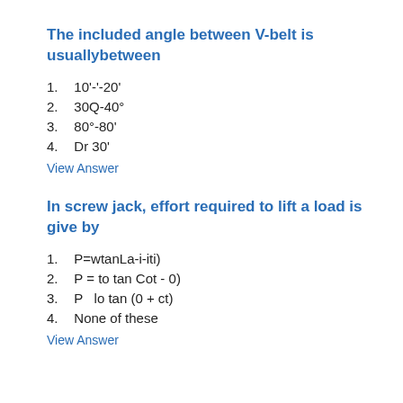The included angle between V-belt is usuallybetween
1.  10'-'-20'
2.  30Q-40°
3.  80°-80'
4.  Dr 30'
View Answer
In screw jack, effort required to lift a load is give by
1.  P=wtanLa-i-iti)
2.  P = to tan Cot - 0)
3.  P   lo tan (0 + ct)
4.  None of these
View Answer